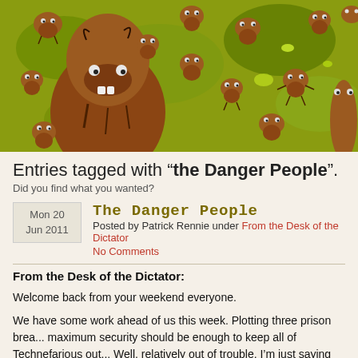[Figure (illustration): A cartoon illustration showing a large brown primitive humanoid figure in the foreground with many smaller similar creatures scattered across a green background.]
Entries tagged with “the Danger People”.
Did you find what you wanted?
Mon 20 Jun 2011
The Danger People
Posted by Patrick Rennie under From the Desk of the Dictator
No Comments
From the Desk of the Dictator:
Welcome back from your weekend everyone.
We have some work ahead of us this week. Plotting three prison brea... maximum security should be enough to keep all of Technefarious out... Well, relatively out of trouble. I’m just saying we’ll be too bus... our rule over the world.